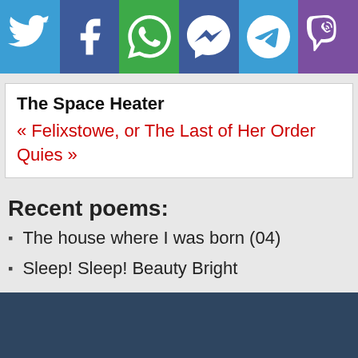[Figure (infographic): Social media sharing icon bar with Twitter, Facebook, WhatsApp, Messenger, Telegram, and Viber icons in colored tiles]
The Space Heater
« Felixstowe, or The Last of Her Order Quies »
Recent poems:
The house where I was born (04)
Sleep! Sleep! Beauty Bright
Hymn 31 part 2
An Ode to the Queen
Breaghy